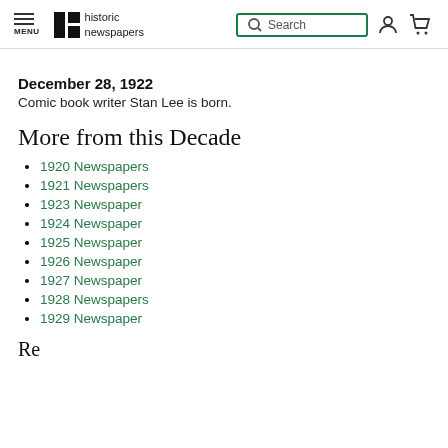historic newspapers — Search
December 28, 1922
Comic book writer Stan Lee is born.
More from this Decade
1920 Newspapers
1921 Newspapers
1923 Newspaper
1924 Newspaper
1925 Newspaper
1926 Newspaper
1927 Newspaper
1928 Newspapers
1929 Newspaper